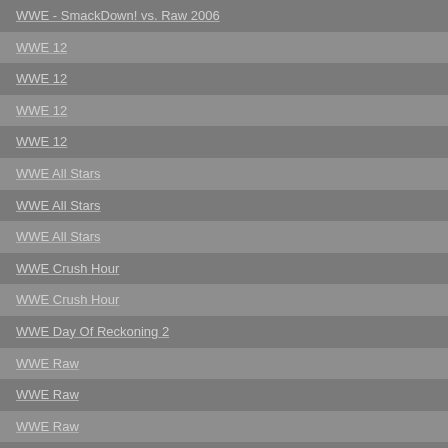WWE - SmackDown! vs. Raw 2006
WWE 12
WWE 12
WWE 12
WWE 12
WWE All Stars
WWE All Stars
WWE All Stars
WWE Crush Hour
WWE Crush Hour
WWE Day Of Reckoning 2
WWE Raw
WWE Raw
WWE Raw
WWE Raw 2
WWE Raw 2
WWE Raw 2 - Ruthless Aggression
WWE Smackdown 5 - Here Comes The Pain
WWE SmackDown Vs Raw
WWE Smackdown Vs Raw 2007